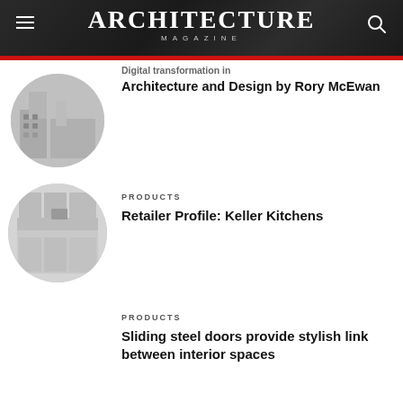ARCHITECTURE MAGAZINE
Digital transformation in Architecture and Design by Rory McEwan
[Figure (photo): Circular thumbnail image of an architectural building exterior]
PRODUCTS
Retailer Profile: Keller Kitchens
[Figure (photo): Circular thumbnail image of a kitchen interior]
PRODUCTS
Sliding steel doors provide stylish link between interior spaces